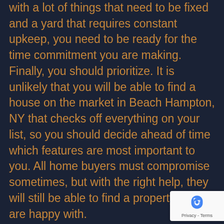with a lot of things that need to be fixed and a yard that requires constant upkeep, you need to be ready for the time commitment you are making. Finally, you should prioritize. It is unlikely that you will be able to find a house on the market in Beach Hampton, NY that checks off everything on your list, so you should decide ahead of time which features are most important to you. All home buyers must compromise sometimes, but with the right help, they will still be able to find a property they are happy with.
What Does a Realtor Do?
Finding a trusted realtor is one of the most important steps in buying a new home. You can start by doing some of your own research and reading the reviews for realtors in Suffolk. A realtor's job is to help you sell your old house and buy a new one while staying within your budget